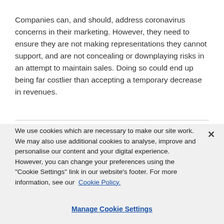Companies can, and should, address coronavirus concerns in their marketing. However, they need to ensure they are not making representations they cannot support, and are not concealing or downplaying risks in an attempt to maintain sales. Doing so could end up being far costlier than accepting a temporary decrease in revenues.
We use cookies which are necessary to make our site work. We may also use additional cookies to analyse, improve and personalise our content and your digital experience. However, you can change your preferences using the "Cookie Settings" link in our website's footer. For more information, see our Cookie Policy.
Manage Cookie Settings